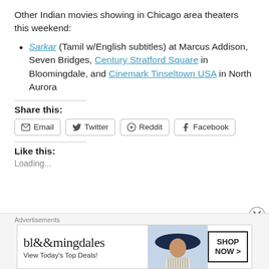Other Indian movies showing in Chicago area theaters this weekend:
Sarkar (Tamil w/English subtitles) at Marcus Addison, Seven Bridges, Century Stratford Square in Bloomingdale, and Cinemark Tinseltown USA in North Aurora
Share this:
Email  Twitter  Reddit  Facebook
Like this:
Loading...
[Figure (other): Bloomingdales advertisement banner: 'bloomingdales View Today's Top Deals!' with a woman in a hat and SHOP NOW > button]